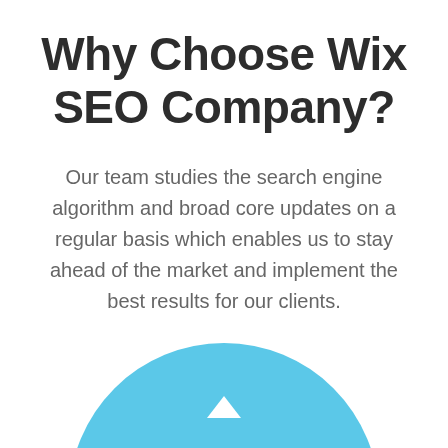Why Choose Wix SEO Company?
Our team studies the search engine algorithm and broad core updates on a regular basis which enables us to stay ahead of the market and implement the best results for our clients.
[Figure (illustration): Light blue circle or rounded shape partially visible at the bottom of the page, with a small white upward-pointing chevron or arrow visible near the top center of the shape.]